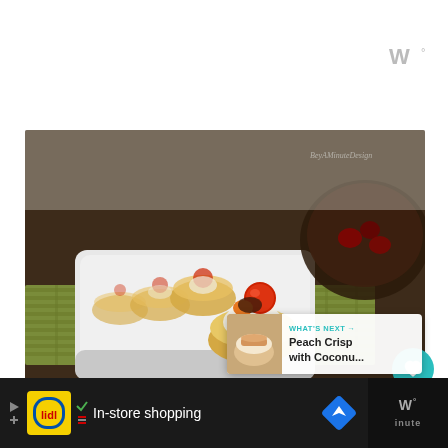[Figure (logo): Stylized 'W' logo with superscript degree symbol in gray, top right corner]
[Figure (photo): Food photography showing polenta or corn cakes topped with ricotta/cream cheese and roasted tomatoes/fruits, arranged in a row on a long white rectangular ceramic serving dish, on a green woven mat background, with a dark bowl of berries in the background. Watermark text visible in upper right of image.]
[Figure (other): Teal circular heart/like button showing heart icon]
4
[Figure (other): Teal circular share button with share icon]
[Figure (other): WHAT'S NEXT panel with thumbnail of Peach Crisp dessert and text 'Peach Crisp with Coconу...']
[Figure (screenshot): Bottom advertisement bar: Lidl grocery store ad with yellow logo, play button, X button, checkmark and 'In-store shopping' text, map/navigation diamond icon, and Whisk app logo on right]